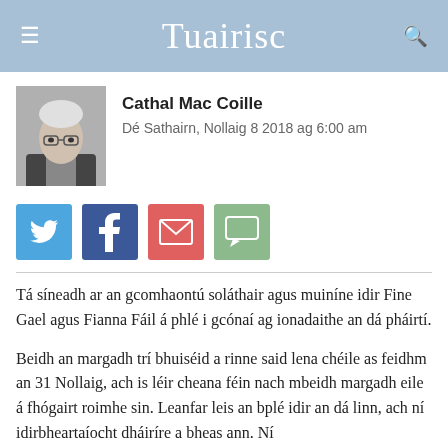Tuairisc
[Figure (photo): Black and white headshot photo of Cathal Mac Coille, a middle-aged man wearing glasses and a suit]
Cathal Mac Coille
Dé Sathairn, Nollaig 8 2018 ag 6:00 am
[Figure (infographic): Social sharing buttons: Twitter (blue bird icon), Facebook (dark blue f icon), Email (red envelope icon), Comments (green speech bubble icon)]
Tá síneadh ar an gcomhaontú soláthair agus muiníne idir Fine Gael agus Fianna Fáil á phlé i gcónaí ag ionadaithe an dá pháirtí.
Beidh an margadh trí bhuiséid a rinne said lena chéile as feidhm an 31 Nollaig, ach is léir cheana féin nach mbeidh margadh eile á fhógairt roimhe sin. Leanfar leis an bplé idir an dá linn, ach ní idirbheartaíocht dháiríre a bheas ann. Ní